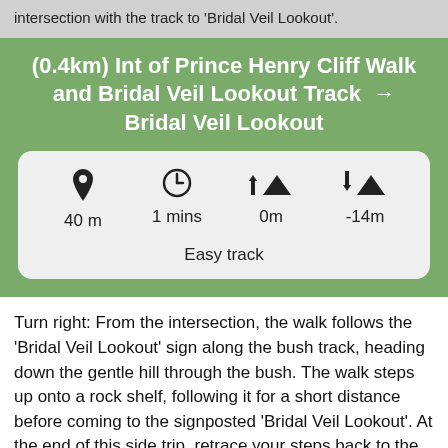intersection with the track to 'Bridal Veil Lookout'.
(0.4km) Int of Prince Henry Cliff Walk and Bridal Veil Lookout Track → Bridal Veil Lookout
[Figure (infographic): Stats box showing: 40 m distance, 1 mins time, 0m elevation gain, -14m elevation loss, Easy track]
Turn right: From the intersection, the walk follows the 'Bridal Veil Lookout' sign along the bush track, heading down the gentle hill through the bush. The walk steps up onto a rock shelf, following it for a short distance before coming to the signposted 'Bridal Veil Lookout'. At the end of this side trip, retrace your steps back to the main walk then Continue straight.